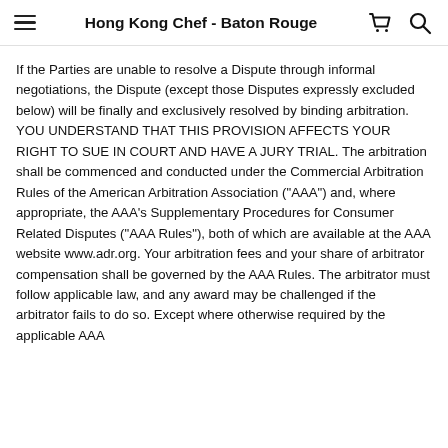Hong Kong Chef - Baton Rouge
If the Parties are unable to resolve a Dispute through informal negotiations, the Dispute (except those Disputes expressly excluded below) will be finally and exclusively resolved by binding arbitration. YOU UNDERSTAND THAT THIS PROVISION AFFECTS YOUR RIGHT TO SUE IN COURT AND HAVE A JURY TRIAL. The arbitration shall be commenced and conducted under the Commercial Arbitration Rules of the American Arbitration Association ("AAA") and, where appropriate, the AAA's Supplementary Procedures for Consumer Related Disputes ("AAA Rules"), both of which are available at the AAA website www.adr.org. Your arbitration fees and your share of arbitrator compensation shall be governed by the AAA Rules. The arbitrator must follow applicable law, and any award may be challenged if the arbitrator fails to do so. Except where otherwise required by the applicable AAA